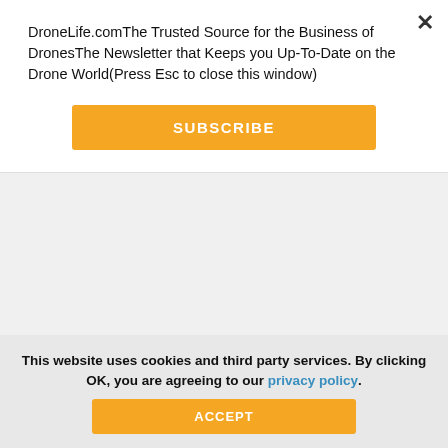DroneLife.comThe Trusted Source for the Business of DronesThe Newsletter that Keeps you Up-To-Date on the Drone World(Press Esc to close this window)
SUBSCRIBE
[Figure (screenshot): Teal/blue banner with dark grey box containing LEARN MORE text]
[Figure (screenshot): Bonding Service advertisement - drone battery packs wire bonding/welding in the US & Europe with dark background and component image]
This website uses cookies and third party services. By clicking OK, you are agreeing to our privacy policy.
ACCEPT